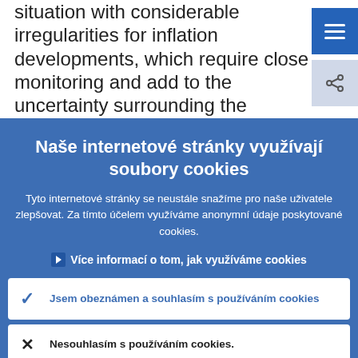situation with considerable irregularities for inflation developments, which require close monitoring and add to the uncertainty surrounding the inflation outlook.
Naše internetové stránky využívají soubory cookies
Tyto internetové stránky se neustále snažíme pro naše uživatele zlepšovat. Za tímto účelem využíváme anonymní údaje poskytované cookies.
▶ Více informací o tom, jak využíváme cookies
✓ Jsem obeznámen a souhlasím s používáním cookies
✗ Nesouhlasím s používáním cookies.